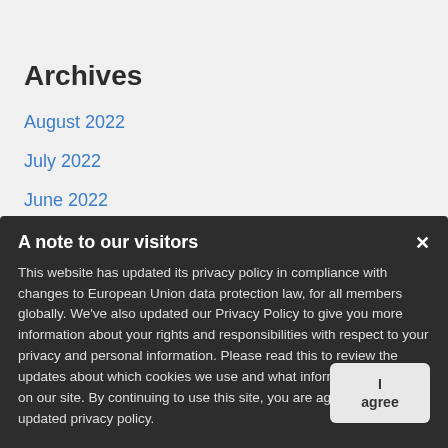Archives
August 2022
July 2022
June 2022
May 2022
April 2022
March 2022
February 2022
January 2022
November 2021
A note to our visitors
This website has updated its privacy policy in compliance with changes to European Union data protection law, for all members globally. We've also updated our Privacy Policy to give you more information about your rights and responsibilities with respect to your privacy and personal information. Please read this to review the updates about which cookies we use and what information we collect on our site. By continuing to use this site, you are agreeing to our updated privacy policy.